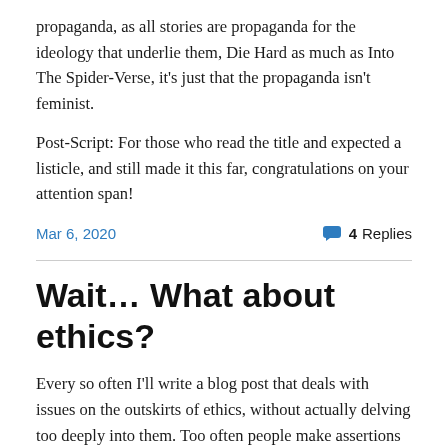propaganda, as all stories are propaganda for the ideology that underlie them, Die Hard as much as Into The Spider-Verse, it's just that the propaganda isn't feminist.
Post-Script: For those who read the title and expected a listicle, and still made it this far, congratulations on your attention span!
Mar 6, 2020  💬 4 Replies
Wait… What about ethics?
Every so often I'll write a blog post that deals with issues on the outskirts of ethics, without actually delving too deeply into them. Too often people make assertions about the way life should be lived without attempting to postulate